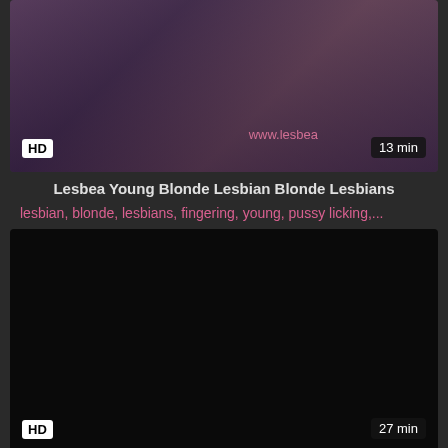[Figure (photo): Video thumbnail showing two people, purple-toned image with HD badge and 13 min duration label, watermark www.lesbea visible]
Lesbea Young Blonde Lesbian Blonde Lesbians
lesbian, blonde, lesbians, fingering, young, pussy licking,...
[Figure (photo): Dark/black video thumbnail with HD badge and 27 min duration label]
Alaina Dawson Lesbian Teen Brunette
lesbian, teen, brunette, fingering, redhead, young, mastur